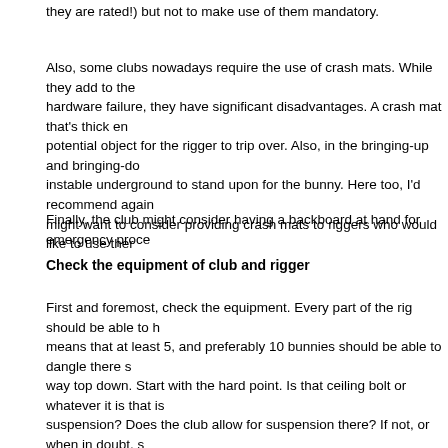they are rated!) but not to make use of them mandatory.
Also, some clubs nowadays require the use of crash mats. While they add to the hardware failure, they have significant disadvantages. A crash mat that's thick en potential object for the rigger to trip over. Also, in the bringing-up and bringing-do instable underground to stand upon for the bunny. Here too, I'd recommend again might want to consider providing crash mats to riggers who would like to use ther
Finally, the club might consider having a backboard at hand for emergency proce
Check the equipment of club and rigger
First and foremost, check the equipment. Every part of the rig should be able to h means that at least 5, and preferably 10 bunnies should be able to dangle there s way top down. Start with the hard point. Is that ceiling bolt or whatever it is that is suspension? Does the club allow for suspension there? If not, or when in doubt, s
Second, check all the hardware in the rig. Often, riggers will be using carabiners, Bondage rings shouldn't be too thin and have a smooth surface so the rope won' preferably be rated. Biners from the hardware store are usually not, AND may ha ropes. However some non-climbing gear is rated and can safely be used. If you h attention or ask the rigger.
Third, check the ropes. In general, rope will be the weakest part of the rig, but is s This means most synthetic ropes are ok. Hemp of at least 6mm thick in general is jute is less strong than hemp but can be used for suspension under the same co cotton is unsuitable for suspension, and I recommend not allowing it for suspens